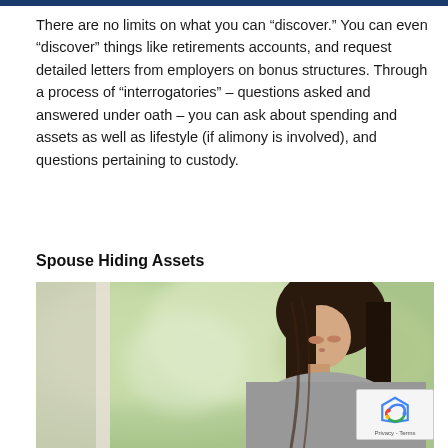There are no limits on what you can “discover.” You can even “discover” things like retirements accounts, and request detailed letters from employers on bonus structures. Through a process of “interrogatories” – questions asked and answered under oath – you can ask about spending and assets as well as lifestyle (if alimony is involved), and questions pertaining to custody.
Spouse Hiding Assets
[Figure (photo): A woman with long dark hair looking pensively out of a window, with a blurred green outdoor background. The image is in color and appears to depict a sad or contemplative mood.]